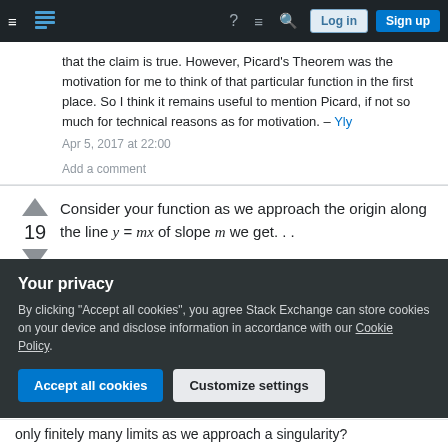Stack Exchange navigation bar with login/signup
that the claim is true. However, Picard's Theorem was the motivation for me to think of that particular function in the first place. So I think it remains useful to mention Picard, if not so much for technical reasons as for motivation. – Yly Apr 5, 2017 at 22:00
Add a comment
Consider your function as we approach the origin along the line y = mx of slope m we get. . .
Your privacy
By clicking "Accept all cookies", you agree Stack Exchange can store cookies on your device and disclose information in accordance with our Cookie Policy.
only finitely many limits as we approach a singularity?